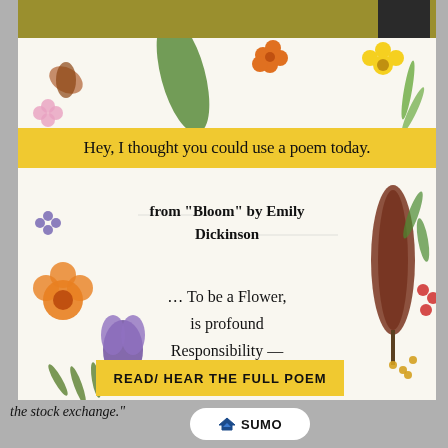[Figure (illustration): Screenshot of a webpage featuring a botanical/floral illustration background with pressed flowers and plants. Contains a yellow header banner, poem excerpt, and call-to-action button.]
Hey, I thought you could use a poem today.
from “Bloom” by Emily Dickinson
… To be a Flower,
is profound
Responsibility —
READ/ HEAR THE FULL POEM
the stock exchange.”
[Figure (logo): Sumo logo — crown icon with SUMO text on white rounded pill background]